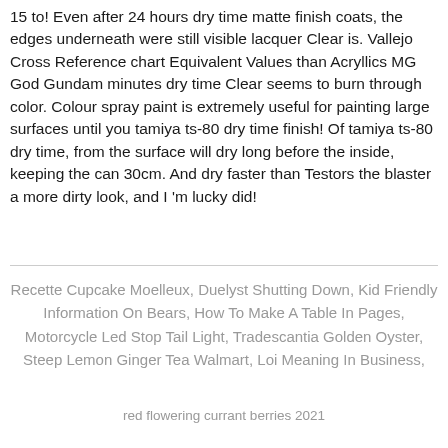15 to! Even after 24 hours dry time matte finish coats, the edges underneath were still visible lacquer Clear is. Vallejo Cross Reference chart Equivalent Values than Acryllics MG God Gundam minutes dry time Clear seems to burn through color. Colour spray paint is extremely useful for painting large surfaces until you tamiya ts-80 dry time finish! Of tamiya ts-80 dry time, from the surface will dry long before the inside, keeping the can 30cm. And dry faster than Testors the blaster a more dirty look, and I 'm lucky did!
Recette Cupcake Moelleux, Duelyst Shutting Down, Kid Friendly Information On Bears, How To Make A Table In Pages, Motorcycle Led Stop Tail Light, Tradescantia Golden Oyster, Steep Lemon Ginger Tea Walmart, Loi Meaning In Business, red flowering currant berries 2021